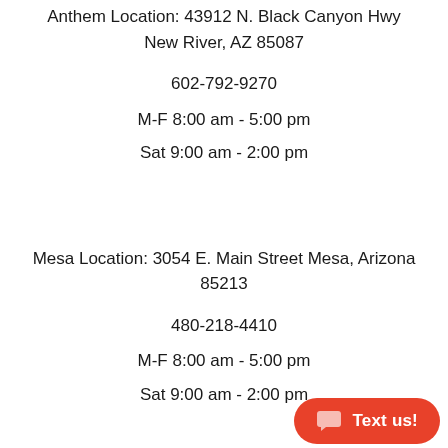Anthem Location: 43912 N. Black Canyon Hwy New River, AZ 85087
602-792-9270
M-F 8:00 am - 5:00 pm
Sat 9:00 am - 2:00 pm
Mesa Location: 3054 E. Main Street Mesa, Arizona 85213
480-218-4410
M-F 8:00 am - 5:00 pm
Sat 9:00 am - 2:00 pm
[Figure (other): Red rounded button with chat icon and 'Text us!' label in bottom-right corner]